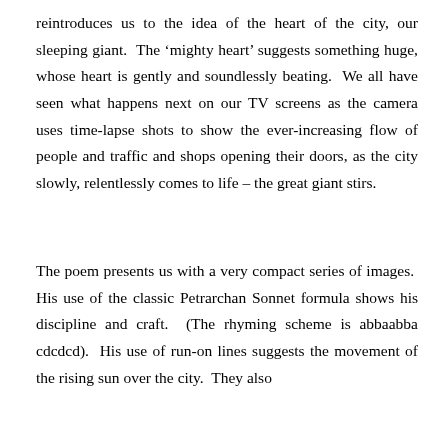reintroduces us to the idea of the heart of the city, our sleeping giant.  The 'mighty heart' suggests something huge, whose heart is gently and soundlessly beating.  We all have seen what happens next on our TV screens as the camera uses time-lapse shots to show the ever-increasing flow of people and traffic and shops opening their doors, as the city slowly, relentlessly comes to life – the great giant stirs.
The poem presents us with a very compact series of images.  His use of the classic Petrarchan Sonnet formula shows his discipline and craft.  (The rhyming scheme is abbaabba cdcdcd).  His use of run-on lines suggests the movement of the rising sun over the city.  They also